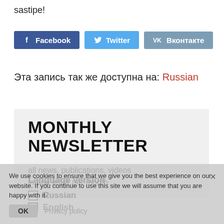sastipe!
[Figure (other): Social share buttons: Facebook, Twitter, VKontakte]
Эта запись так же доступна на: Russian
MONTHLY NEWSLETTER
all news, publications, videos
in one letter per month
Language version
We use cookies to ensure that we give you the best experience on our website. If you continue to use this site we will assume that you are happy with it.
Russian
English